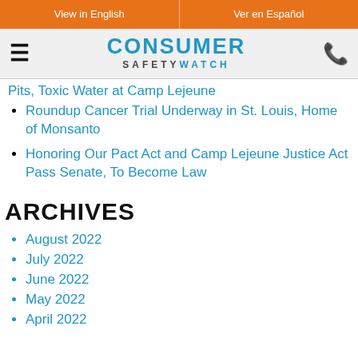View in English | Ver en Español
[Figure (logo): Consumer Safety Watch logo with hamburger menu icon and phone icon]
Pits, Toxic Water at Camp Lejeune
Roundup Cancer Trial Underway in St. Louis, Home of Monsanto
Honoring Our Pact Act and Camp Lejeune Justice Act Pass Senate, To Become Law
ARCHIVES
August 2022
July 2022
June 2022
May 2022
April 2022